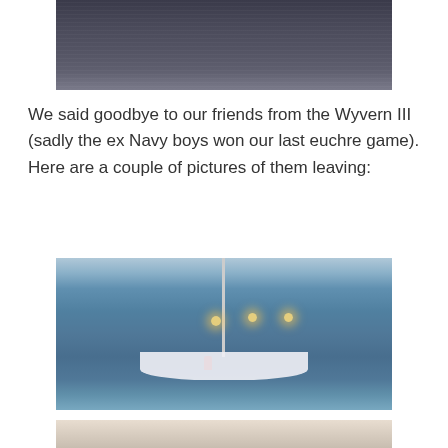[Figure (photo): Partial photo of dark water/ocean surface, cropped at top of page]
We said goodbye to our friends from the Wyvern III (sadly the ex Navy boys won our last euchre game). Here are a couple of pictures of them leaving:
[Figure (photo): Sailboat (Wyvern III) leaving a marina in foggy/misty early morning conditions, with dock lights glowing in the background]
[Figure (photo): Partial photo at bottom of page, light tan/beige tones, another image of the boat leaving]